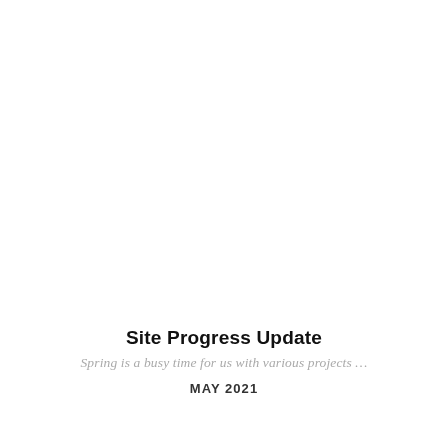Site Progress Update
Spring is a busy time for us with various projects …
MAY 2021